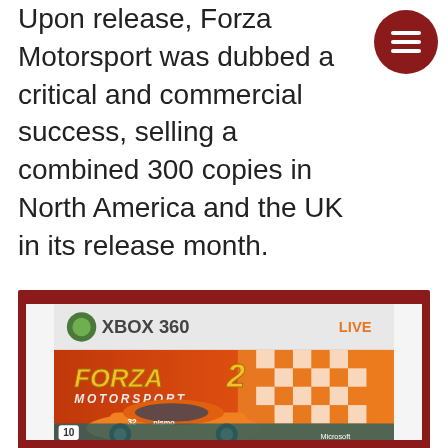Upon release, Forza Motorsport was dubbed a critical and commercial success, selling a combined 300 copies in North America and the UK in its release month.
[Figure (photo): Forza Motorsport 2 Xbox 360 game cover art featuring a yellow/orange Nismo race car on a track with checkered flag graphics and orange/red background. The cover shows Xbox 360 and LIVE branding at the top, the Forza Motorsport 2 logo, and Microsoft branding at the bottom with a rating of 10.]